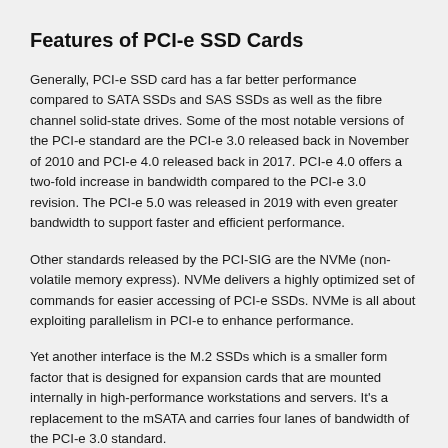Features of PCI-e SSD Cards
Generally, PCI-e SSD card has a far better performance compared to SATA SSDs and SAS SSDs as well as the fibre channel solid-state drives. Some of the most notable versions of the PCI-e standard are the PCI-e 3.0 released back in November of 2010 and PCI-e 4.0 released back in 2017. PCI-e 4.0 offers a two-fold increase in bandwidth compared to the PCI-e 3.0 revision. The PCI-e 5.0 was released in 2019 with even greater bandwidth to support faster and efficient performance.
Other standards released by the PCI-SIG are the NVMe (non-volatile memory express). NVMe delivers a highly optimized set of commands for easier accessing of PCI-e SSDs. NVMe is all about exploiting parallelism in PCI-e to enhance performance.
Yet another interface is the M.2 SSDs which is a smaller form factor that is designed for expansion cards that are mounted internally in high-performance workstations and servers. It's a replacement to the mSATA and carries four lanes of bandwidth of the PCI-e 3.0 standard.